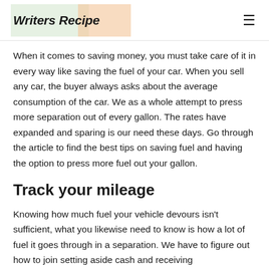Writers Recipe
When it comes to saving money, you must take care of it in every way like saving the fuel of your car. When you sell any car, the buyer always asks about the average consumption of the car. We as a whole attempt to press more separation out of every gallon. The rates have expanded and sparing is our need these days. Go through the article to find the best tips on saving fuel and having the option to press more fuel out your gallon.
Track your mileage
Knowing how much fuel your vehicle devours isn't sufficient, what you likewise need to know is how a lot of fuel it goes through in a separation. We have to figure out how to join setting aside cash and receiving